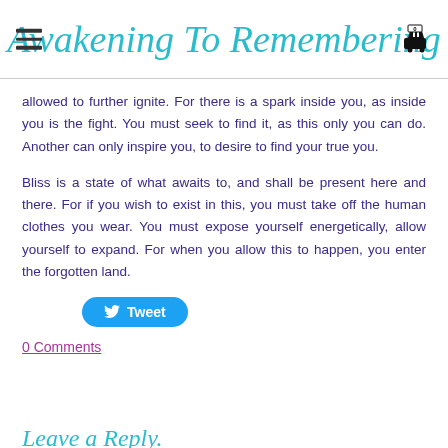Awakening To Remembering
allowed to further ignite. For there is a spark inside you, as inside you is the fight. You must seek to find it, as this only you can do. Another can only inspire you, to desire to find your true you.
Bliss is a state of what awaits to, and shall be present here and there. For if you wish to exist in this, you must take off the human clothes you wear. You must expose yourself energetically, allow yourself to expand. For when you allow this to happen, you enter the forgotten land.
[Figure (other): Tweet button with Twitter bird icon]
0 Comments
Leave a Reply.